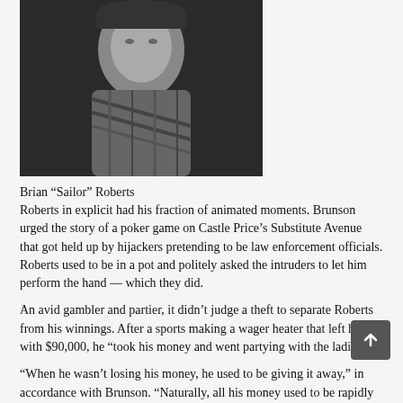[Figure (photo): Black and white photograph of Brian 'Sailor' Roberts, cropped showing upper body, wearing a patterned garment]
Brian “Sailor” Roberts
Roberts in explicit had his fraction of animated moments. Brunson urged the story of a poker game on Castle Price’s Substitute Avenue that got held up by hijackers pretending to be law enforcement officials. Roberts used to be in a pot and politely asked the intruders to let him perform the hand — which they did.
An avid gambler and partier, it didn’t judge a theft to separate Roberts from his winnings. After a sports making a wager heater that left him with $90,000, he “took his money and went partying with the ladies.”
“When he wasn’t losing his money, he used to be giving it away,” in accordance with Brunson. “Naturally, all his money used to be rapidly gone, which afflicted him in no intention.”
Brunson also acknowledged Roberts used to be an very